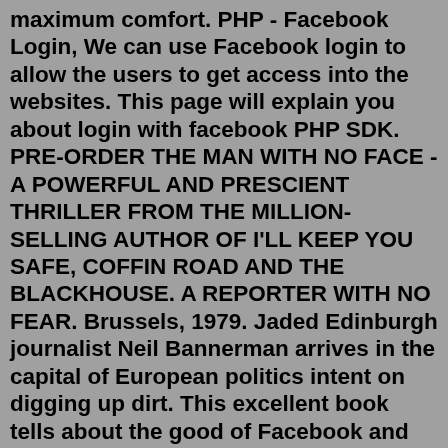maximum comfort. PHP - Facebook Login, We can use Facebook login to allow the users to get access into the websites. This page will explain you about login with facebook PHP SDK. PRE-ORDER THE MAN WITH NO FACE - A POWERFUL AND PRESCIENT THRILLER FROM THE MILLION-SELLING AUTHOR OF I'LL KEEP YOU SAFE, COFFIN ROAD AND THE BLACKHOUSE. A REPORTER WITH NO FEAR. Brussels, 1979. Jaded Edinburgh journalist Neil Bannerman arrives in the capital of European politics intent on digging up dirt. This excellent book tells about the good of Facebook and the bad of Facebook. This book is very detailed about the history of Facebook and the Facebook leaders. In early 2009, Facebook moved to its new 150,000 square feet Headquarters at 1601 California Ave. in Palo Alto, CA. Facebook was mentioned in a third of divorces. My Social Book automatically gathers your Facebook and Instagram content and organizes it all into a beautiful layout in seconds! Just click on the button below, choose your photos, text...